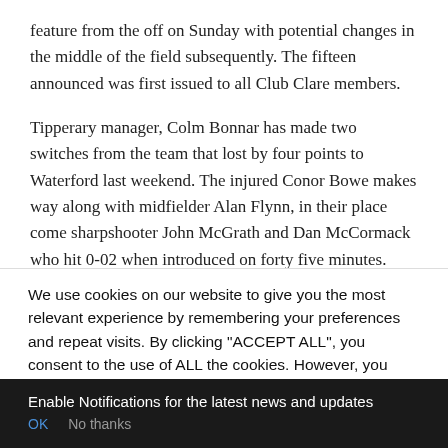feature from the off on Sunday with potential changes in the middle of the field subsequently. The fifteen announced was first issued to all Club Clare members.
Tipperary manager, Colm Bonnar has made two switches from the team that lost by four points to Waterford last weekend. The injured Conor Bowe makes way along with midfielder Alan Flynn, in their place come sharpshooter John McGrath and Dan McCormack who hit 0-02 when introduced on forty five minutes. Craig Morgan is expected to be handed the difficult
We use cookies on our website to give you the most relevant experience by remembering your preferences and repeat visits. By clicking "ACCEPT ALL", you consent to the use of ALL the cookies. However, you may visit "Cookie Settings" to provide a controlled consent.
Enable Notifications for the latest news and updates
OK   No thanks